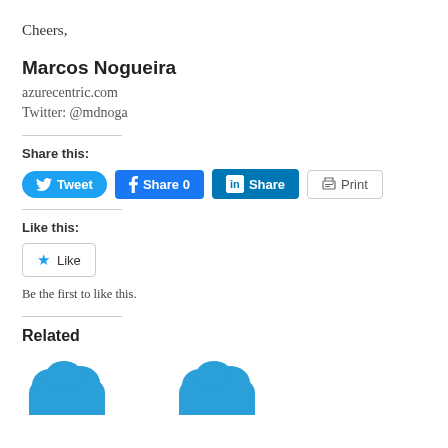Cheers,
Marcos Nogueira
azurecentric.com
Twitter: @mdnoga
Share this:
Like this:
Be the first to like this.
Related